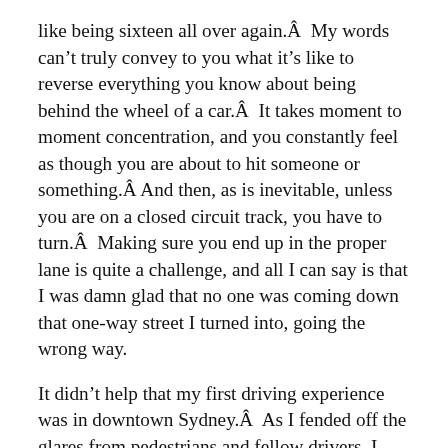like being sixteen all over again.Â  My words canâ€™t truly convey to you what itâ€™s like to reverse everything you know about being behind the wheel of a car.Â  It takes moment to moment concentration, and you constantly feel as though you are about to hit someone or something.Â  And then, as is inevitable, unless you are on a closed circuit track, you have to turn.Â  Making sure you end up in the proper lane is quite a challenge, and all I can say is that I was damn glad that no one was coming down that one-way street I turned into, going the wrong way.
It didnâ€™t help that my first driving experience was in downtown Sydney.Â  As I fended off the glares from pedestrians and fellow drivers, I could only shrug, and yell â€œSorry, Iâ€™m American!â€, as though that were excuse enough for any misdemeanors I might commit.Â